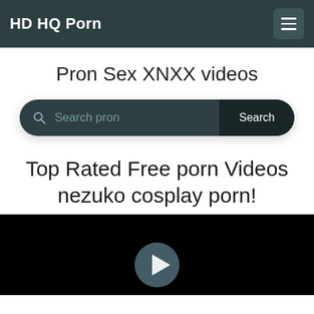HD HQ Porn
Pron Sex XNXX videos
[Figure (other): Search bar with magnifying glass icon, placeholder text 'Search pron', and a 'Search' button]
Top Rated Free porn Videos nezuko cosplay porn!
[Figure (other): Black video player area with a play button icon at the bottom center]